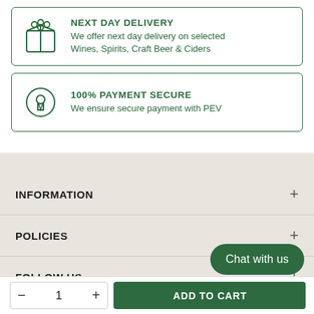NEXT DAY DELIVERY
We offer next day delivery on selected Wines, Spirits, Craft Beer & Ciders
100% PAYMENT SECURE
We ensure secure payment with PEV
INFORMATION
POLICIES
FOLLOW US
Chat with us
— 1 + ADD TO CART